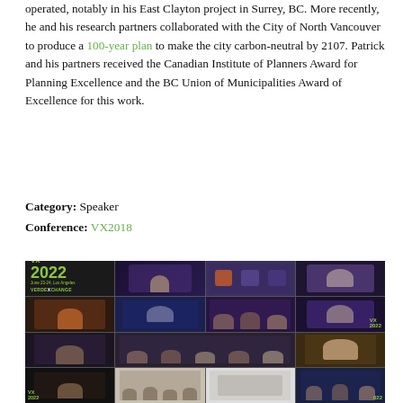operated, notably in his East Clayton project in Surrey, BC. More recently, he and his research partners collaborated with the City of North Vancouver to produce a 100-year plan to make the city carbon-neutral by 2107. Patrick and his partners received the Canadian Institute of Planners Award for Planning Excellence and the BC Union of Municipalities Award of Excellence for this work.
Category: Speaker
Conference: VX2018
[Figure (photo): Collage of conference photos from VX2022 (VerdeXchange) event in Los Angeles, showing speakers, panelists, audience members, roundtable discussions, and presentations across 16 grid cells.]